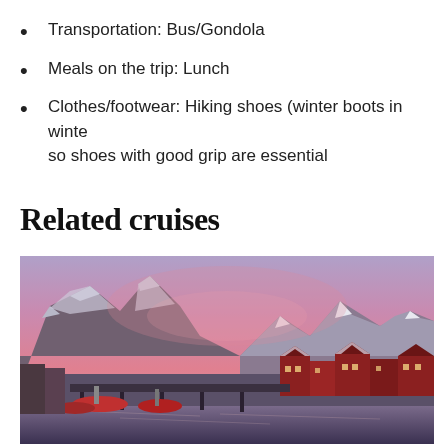Transportation: Bus/Gondola
Meals on the trip: Lunch
Clothes/footwear: Hiking shoes (winter boots in winter), so shoes with good grip are essential
Related cruises
[Figure (photo): Nordic fishing village harbor at purple and pink sunset with snow-capped mountains in background and red wooden buildings along the waterfront]